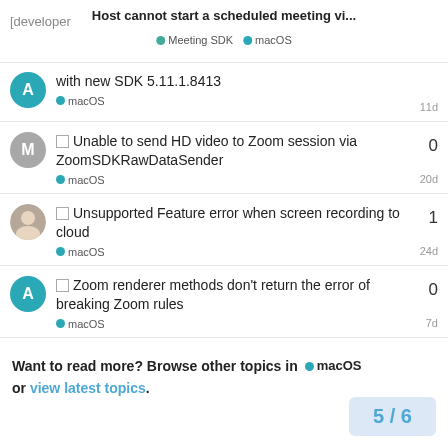Host cannot start a scheduled meeting vi... [developer] • Meeting SDK • macOS
with new SDK 5.11.1.8413 • macOS 11d
□ Unable to send HD video to Zoom session via ZoomSDKRawDataSender • macOS 0 20d
□ Unsupported Feature error when screen recording to cloud • macOS 1 24d
□ Zoom renderer methods don't return the error of breaking Zoom rules • macOS 0 7d
Want to read more? Browse other topics in • macOS or view latest topics. 5 / 6